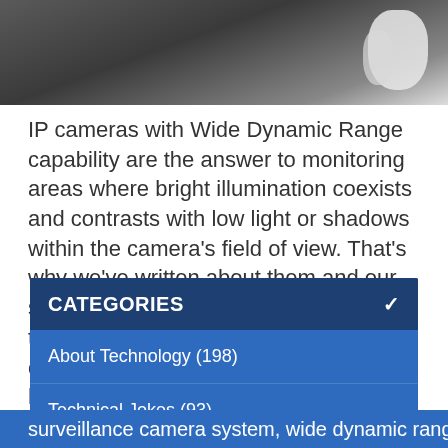[Figure (photo): Partial photo of a dark surface with white shapes/objects visible, cropped at top of page]
IP cameras with Wide Dynamic Range capability are the answer to monitoring areas where bright illumination coexists and contrasts with low light or shadows within the camera's field of view. That's why we've written about them and our sales engineers have recommended them so often. But who would believe one of Kintronics “very own” would find himself in a situation where a camera with WDR
CATEGORIES
About Technology (198)
Technical Jokes (93)
Use of Technology (39)
surveillance camera system, wide dynamic range